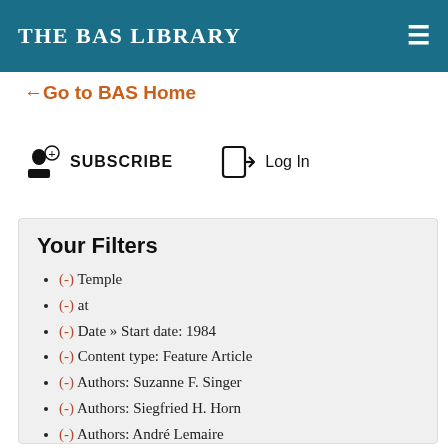The BAS Library
←Go to BAS Home
SUBSCRIBE  Log In
Your Filters
(-) Temple
(-) at
(-) Date » Start date: 1984
(-) Content type: Feature Article
(-) Authors: Suzanne F. Singer
(-) Authors: Siegfried H. Horn
(-) Authors: André Lemaire